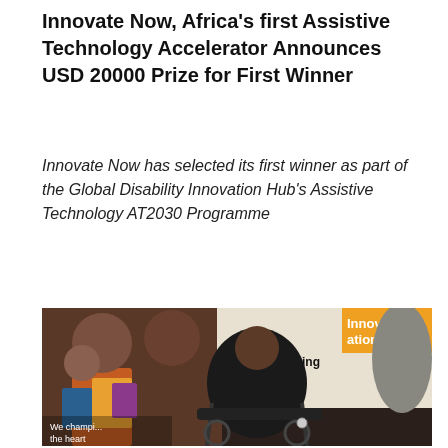Innovate Now, Africa's first Assistive Technology Accelerator Announces USD 20000 Prize for First Winner
Innovate Now has selected its first winner as part of the Global Disability Innovation Hub's Assistive Technology AT2030 Programme
[Figure (photo): A smiling person in a black leather jacket seated in a powered wheelchair in front of a banner reading 'Innovation – Life changing assistive technology for all'. Another person appears in the background. Bottom-left corner text reads 'We champi... the heart']